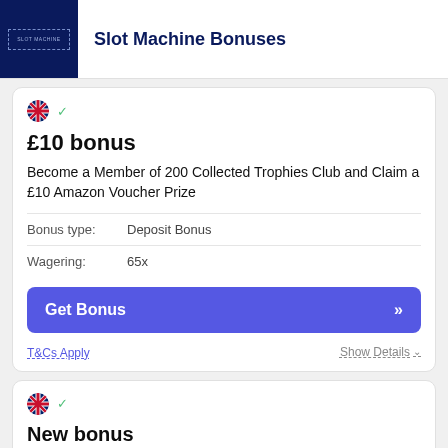Slot Machine Bonuses
£10 bonus
Become a Member of 200 Collected Trophies Club and Claim a £10 Amazon Voucher Prize
| Field | Value |
| --- | --- |
| Bonus type: | Deposit Bonus |
| Wagering: | 65x |
Get Bonus
T&Cs Apply
Show Details
New bonus
Receive a Free Real Money Reward if You Have Made a